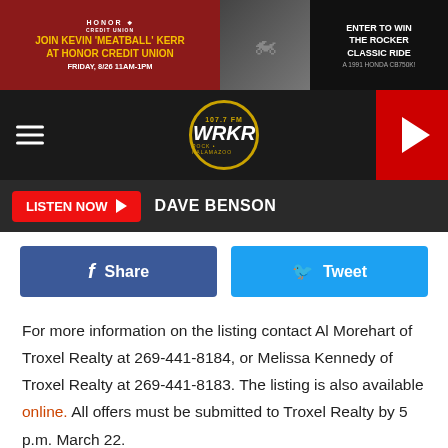[Figure (screenshot): Top advertisement banner for Honor Credit Union featuring Kevin 'Meatball' Kerr event and Enter to Win The Rocker Classic Ride motorcycle promotion]
[Figure (screenshot): WRKR 107.7 FM radio station navigation bar with hamburger menu, circular logo, and red play button]
[Figure (screenshot): Listen Now button bar with Dave Benson text]
[Figure (screenshot): Facebook Share and Twitter Tweet social media buttons]
For more information on the listing contact Al Morehart of Troxel Realty at 269-441-8184, or Melissa Kennedy of Troxel Realty at 269-441-8183. The listing is also available online. All offers must be submitted to Troxel Realty by 5 p.m. March 22.
[Figure (screenshot): Bottom Honor Credit Union advertisement banner identical to top banner]